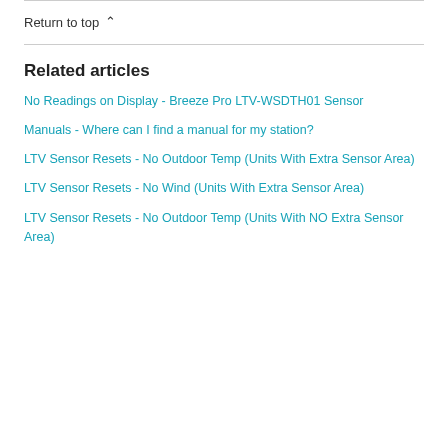Return to top ^
Related articles
No Readings on Display - Breeze Pro LTV-WSDTH01 Sensor
Manuals - Where can I find a manual for my station?
LTV Sensor Resets - No Outdoor Temp (Units With Extra Sensor Area)
LTV Sensor Resets - No Wind (Units With Extra Sensor Area)
LTV Sensor Resets - No Outdoor Temp (Units With NO Extra Sensor Area)